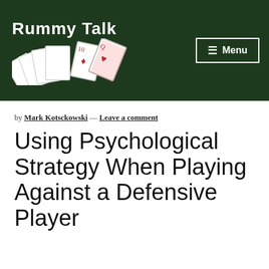[Figure (logo): Rummy Talk website header with logo text and fanned playing cards illustration on dark green background]
by Mark Kotsckowski — Leave a comment
Using Psychological Strategy When Playing Against a Defensive Player